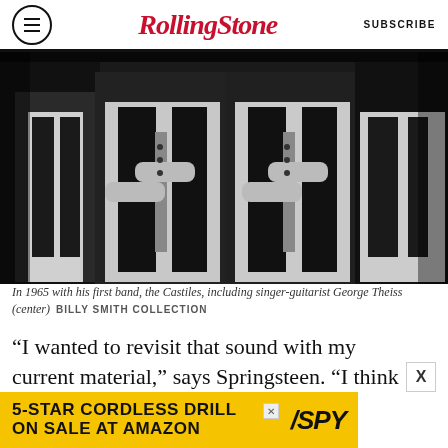RollingStone  SUBSCRIBE
[Figure (photo): Black and white photo of young men in white shirts and dark vests with arms crossed, the Castiles band in 1965]
In 1965 with his first band, the Castiles, including singer-guitarist George Theiss (center)  BILLY SMITH COLLECTION
“I wanted to revisit that sound with my current material,” says Springsteen. “I think the audience
[Figure (other): 5-STAR CORDLESS DRILL ON SALE AT AMAZON - SPY advertisement banner]